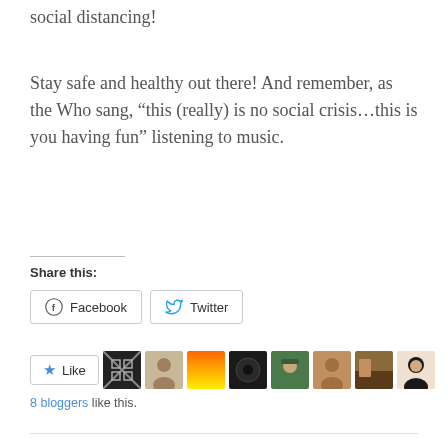social distancing!
Stay safe and healthy out there! And remember, as the Who sang, “this (really) is no social crisis…this is you having fun” listening to music.
Share this:
[Figure (screenshot): Facebook and Twitter share buttons]
[Figure (screenshot): Like button with 8 blogger avatars]
8 bloggers like this.